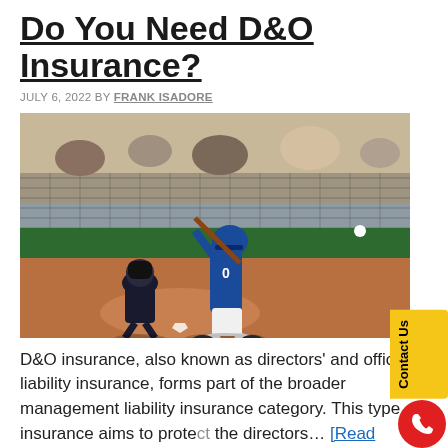Do You Need D&O Insurance?
JULY 6, 2022 BY FRANK ISADORE
[Figure (photo): Youth baseball player batting at home plate with catcher crouching behind, spectators visible behind chain-link fence in background, outdoor baseball field with green wall]
D&O insurance, also known as directors' and officers' liability insurance, forms part of the broader management liability insurance category. This type of insurance aims to protect the directors… [Read more…]